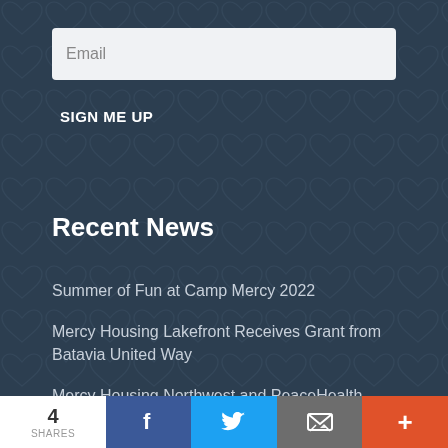Email
SIGN ME UP
Recent News
Summer of Fun at Camp Mercy 2022
Mercy Housing Lakefront Receives Grant from Batavia United Way
Mercy Housing Northwest and PeaceHealth Celebrate the Grand Opening of Columbia Heights
4 SHARES  [Facebook] [Twitter] [Email] [More]